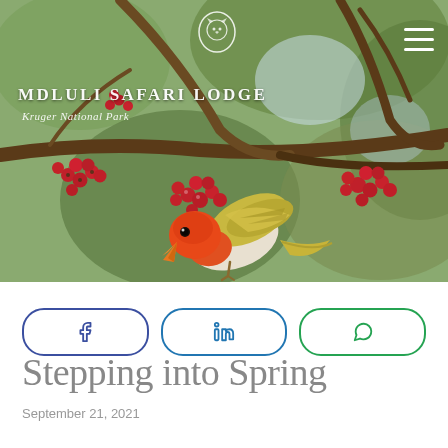[Figure (photo): A colorful bird with orange-red head and yellow-green wings perched on a branch with red berries, with the Mdluli Safari Lodge logo and tagline overlaid in white text at top left, and a hamburger menu icon at top right.]
[Figure (infographic): Three social share buttons in a row: Facebook (dark blue border), LinkedIn (blue border), WhatsApp (green border), each as a rounded pill with the respective icon.]
Stepping into Spring
September 21, 2021